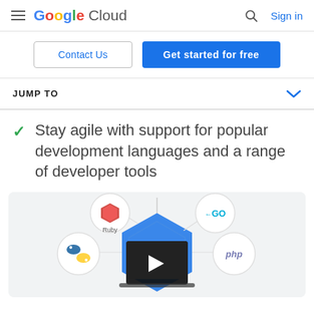Google Cloud — Sign in
Contact Us | Get started for free
JUMP TO
Stay agile with support for popular development languages and a range of developer tools
[Figure (illustration): Circular diagram showing programming languages (Ruby, Go, Python, PHP) surrounding a central blue hexagon with a video play button overlay on a laptop illustration]